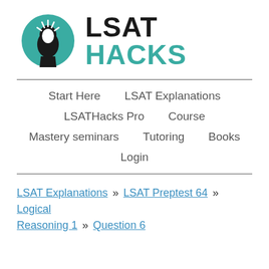[Figure (logo): LSAT Hacks logo: teal circle with silhouette of human head and lightbulb rays, next to bold text LSAT HACKS where HACKS is in teal]
Start Here  LSAT Explanations  LSATHacks Pro  Course  Mastery seminars  Tutoring  Books  Login
LSAT Explanations » LSAT Preptest 64 » Logical Reasoning 1 » Question 6